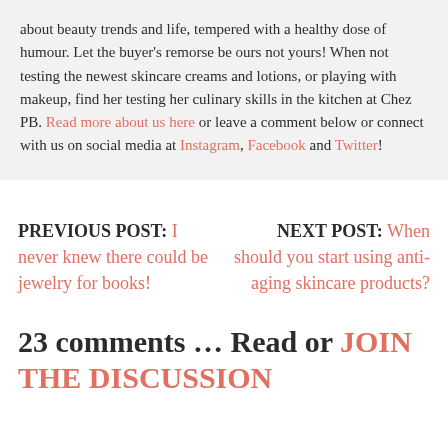about beauty trends and life, tempered with a healthy dose of humour. Let the buyer's remorse be ours not yours! When not testing the newest skincare creams and lotions, or playing with makeup, find her testing her culinary skills in the kitchen at Chez PB. Read more about us here or leave a comment below or connect with us on social media at Instagram, Facebook and Twitter!
PREVIOUS POST: I never knew there could be jewelry for books!
NEXT POST: When should you start using anti-aging skincare products?
23 comments … Read or JOIN THE DISCUSSION